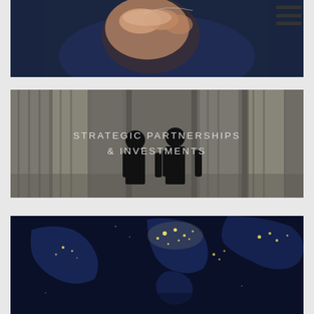[Figure (photo): Close-up of a hand/fist on dark navy blue background, cropped, showing partial hand at bottom]
[Figure (photo): Two silhouettes of people standing in front of large stone columns, black and white photo with text overlay reading STRATEGIC PARTNERSHIPS & INVESTMENTS]
STRATEGIC PARTNERSHIPS & INVESTMENTS
[Figure (photo): Night-time satellite view of Earth showing city lights across Europe and North America on dark blue background]